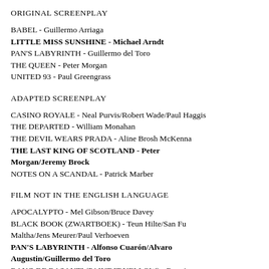ORIGINAL SCREENPLAY
BABEL - Guillermo Arriaga
LITTLE MISS SUNSHINE - Michael Arndt
PAN'S LABYRINTH - Guillermo del Toro
THE QUEEN - Peter Morgan
UNITED 93 - Paul Greengrass
ADAPTED SCREENPLAY
CASINO ROYALE - Neal Purvis/Robert Wade/Paul Haggis
THE DEPARTED - William Monahan
THE DEVIL WEARS PRADA - Aline Brosh McKenna
THE LAST KING OF SCOTLAND - Peter Morgan/Jeremy Brock
NOTES ON A SCANDAL - Patrick Marber
FILM NOT IN THE ENGLISH LANGUAGE
APOCALYPTO - Mel Gibson/Bruce Davey
BLACK BOOK (ZWARTBOEK) - Teun Hilte/San Fu Maltha/Jens Meurer/Paul Verhoeven
PAN'S LABYRINTH - Alfonso Cuarón/Alvaro Augustin/Guillermo del Toro
RANG DE BASANTI (PAINT IT YELLOW) - Ronnie Screwvala/Rakeysh Omprakash Mehra